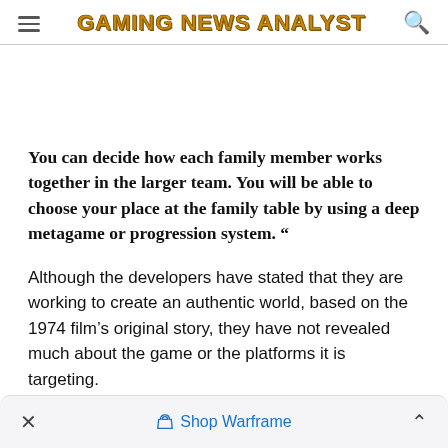Gaming News Analyst
You can decide how each family member works together in the larger team. You will be able to choose your place at the family table by using a deep metagame or progression system. "
Although the developers have stated that they are working to create an authentic world, based on the 1974 film's original story, they have not revealed much about the game or the platforms it is targeting.
× Shop Warframe ^